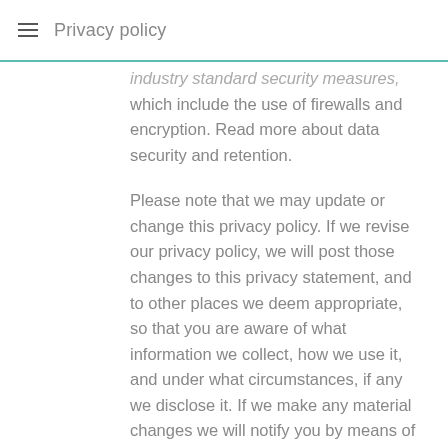Privacy policy
industry standard security measures, which include the use of firewalls and encryption. Read more about data security and retention.
Please note that we may update or change this privacy policy. If we revise our privacy policy, we will post those changes to this privacy statement, and to other places we deem appropriate, so that you are aware of what information we collect, how we use it, and under what circumstances, if any we disclose it. If we make any material changes we will notify you by means of a notice on this site prior